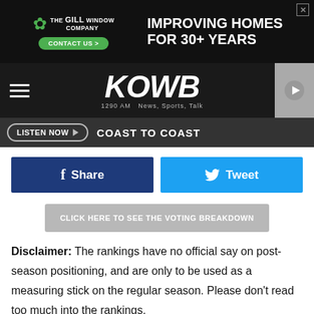[Figure (screenshot): Top advertisement banner for The Gill Window Company: 'IMPROVING HOMES FOR 30+ YEARS CONTACT US >']
[Figure (logo): KOWB 1290 AM News, Sports, Talk radio station logo with hamburger menu and play button]
[Figure (screenshot): Listen Now button with 'COAST TO COAST' text in dark navigation bar]
[Figure (screenshot): Facebook Share and Twitter Tweet social media buttons]
[Figure (screenshot): Gray button: CLICK HERE TO SEE THE VOTING BREAKDOWN]
Disclaimer: The rankings have no official say on post-season positioning, and are only to be used as a measuring stick on the regular season. Please don't read too much into the rankings.
[Figure (screenshot): Bottom advertisement for Laramie Auto Center: 'WE CHANGE OIL ON ALL MAKES & MODELS LEARN MORE']